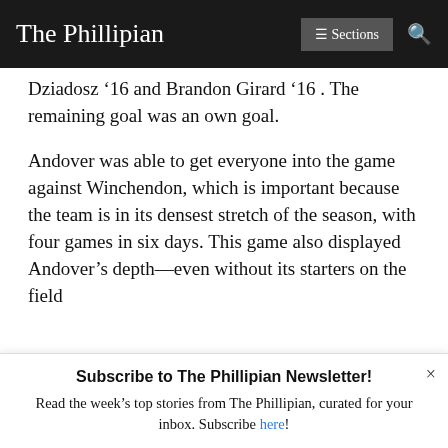The Phillipian | ☰ Sections | 🔍
Dziadosz '16 and Brandon Girard '16 . The remaining goal was an own goal.
Andover was able to get everyone into the game against Winchendon, which is important because the team is in its densest stretch of the season, with four games in six days. This game also displayed Andover's depth—even without its starters on the field
Subscribe to The Phillipian Newsletter!
Read the week's top stories from The Phillipian, curated for your inbox. Subscribe here!